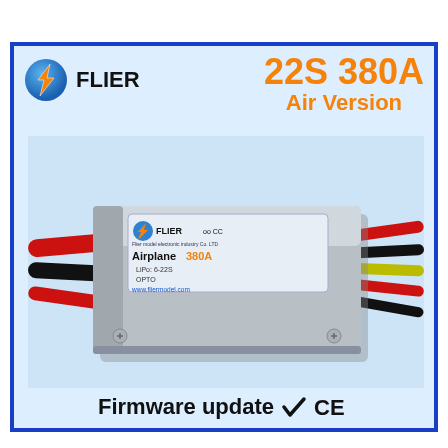[Figure (logo): Flier brand logo - blue globe with orange lightning bolt F]
FLIER 22S 380A Air Version
[Figure (photo): Photo of Flier Airplane 380A ESC (Electronic Speed Controller) - silver aluminum box with wires, label reading Airplane 380A, LiPo 6-22S, OPTO, www.fliermodel.com]
Firmware update